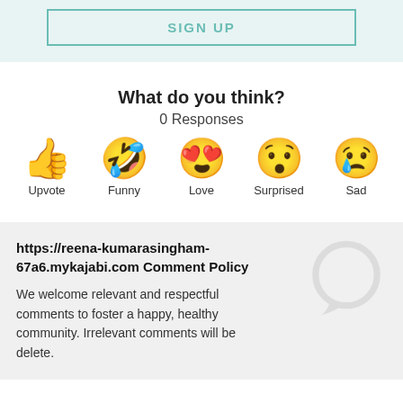[Figure (screenshot): SIGN UP button with teal border on light teal background]
What do you think?
0 Responses
[Figure (infographic): Five emoji reaction buttons: Upvote (thumbs up), Funny (laughing face), Love (heart eyes), Surprised (surprised face), Sad (crying face)]
https://reena-kumarasingham-67a6.mykajabi.com Comment Policy
We welcome relevant and respectful comments to foster a happy, healthy community. Irrelevant comments will be delete.